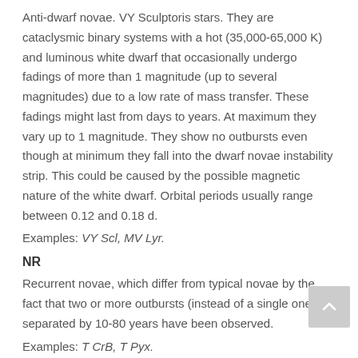Anti-dwarf novae. VY Sculptoris stars. They are cataclysmic binary systems with a hot (35,000-65,000 K) and luminous white dwarf that occasionally undergo fadings of more than 1 magnitude (up to several magnitudes) due to a low rate of mass transfer. These fadings might last from days to years. At maximum they vary up to 1 magnitude. They show no outbursts even though at minimum they fall into the dwarf novae instability strip. This could be caused by the possible magnetic nature of the white dwarf. Orbital periods usually range between 0.12 and 0.18 d.
Examples: VY Scl, MV Lyr.
NR
Recurrent novae, which differ from typical novae by the fact that two or more outbursts (instead of a single one) separated by 10-80 years have been observed.
Examples: T CrB, T Pyx.